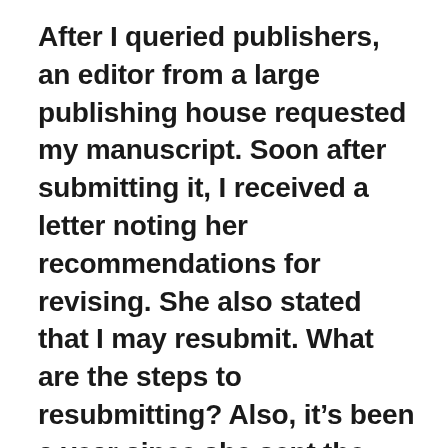After I queried publishers, an editor from a large publishing house requested my manuscript. Soon after submitting it, I received a letter noting her recommendations for revising. She also stated that I may resubmit. What are the steps to resubmitting? Also, it's been a year since she sent the letter. Has too much time passed? —Joan K.